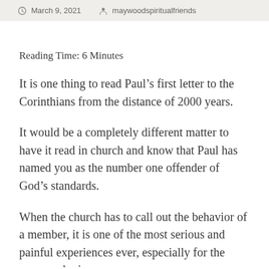March 9, 2021   maywoodspiritualfriends
Reading Time: 6 Minutes
It is one thing to read Paul’s first letter to the Corinthians from the distance of 2000 years.
It would be a completely different matter to have it read in church and know that Paul has named you as the number one offender of God’s standards.
When the church has to call out the behavior of a member, it is one of the most serious and painful experiences ever, especially for the person who is